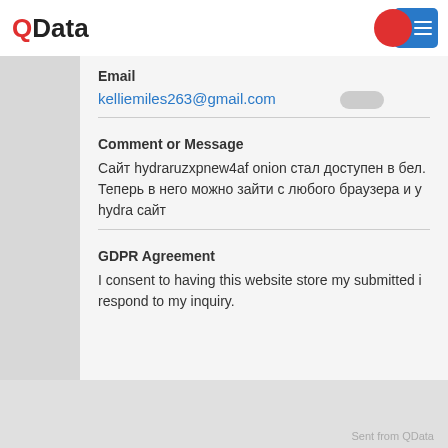QData
Email
kelliemiles263@gmail.com
Comment or Message
Сайт hydraruzxpnew4af onion стал доступен в бел. Теперь в него можно зайти с любого браузера и у hydra сайт
GDPR Agreement
I consent to having this website store my submitted i respond to my inquiry.
Sent from QData